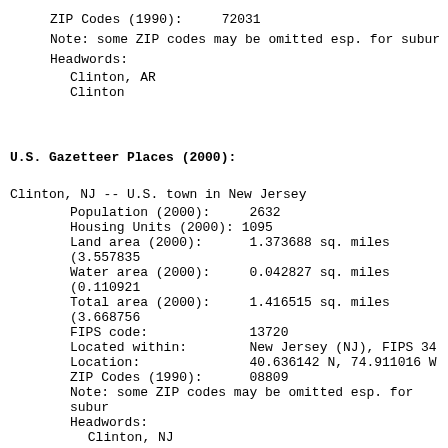ZIP Codes (1990):    72031
Note: some ZIP codes may be omitted esp. for subur
Headwords:
Clinton, AR
Clinton
U.S. Gazetteer Places (2000):
Clinton, NJ -- U.S. town in New Jersey
Population (2000):    2632
Housing Units (2000): 1095
Land area (2000):     1.373688 sq. miles (3.557835
Water area (2000):    0.042827 sq. miles (0.110921
Total area (2000):    1.416515 sq. miles (3.668756
FIPS code:            13720
Located within:       New Jersey (NJ), FIPS 34
Location:             40.636142 N, 74.911016 W
ZIP Codes (1990):     08809
Note: some ZIP codes may be omitted esp. for subur
Headwords:
Clinton, NJ